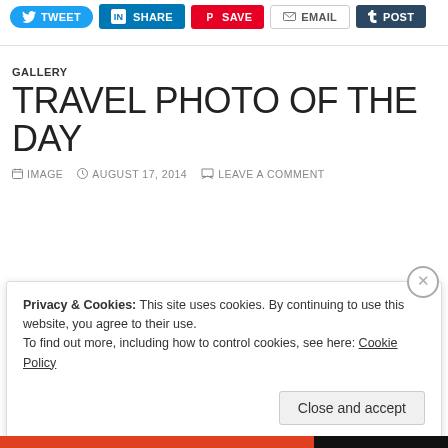[Figure (screenshot): Social sharing buttons: Tweet (Twitter/blue), SHARE (LinkedIn/blue), Save (Pinterest/red), Email (grey), Post (Tumblr/dark)]
GALLERY
TRAVEL PHOTO OF THE DAY
IMAGE  AUGUST 17, 2014  LEAVE A COMMENT
Privacy & Cookies: This site uses cookies. By continuing to use this website, you agree to their use.
To find out more, including how to control cookies, see here: Cookie Policy
Close and accept